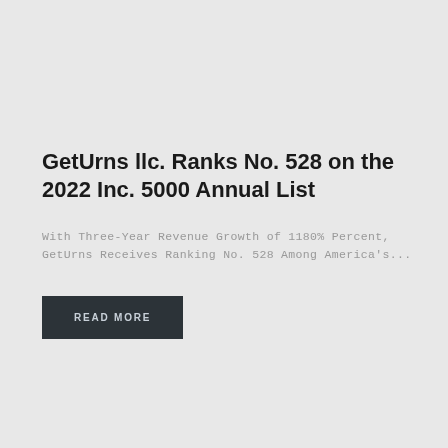GetUrns llc. Ranks No. 528 on the 2022 Inc. 5000 Annual List
With Three-Year Revenue Growth of 1180% Percent, GetUrns Receives Ranking No. 528 Among America's...
READ MORE